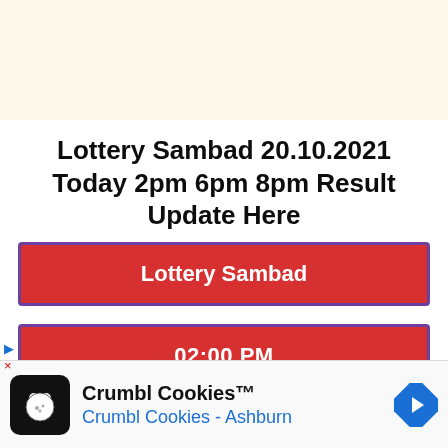[Figure (other): Top banner area with cream/off-white background]
Lottery Sambad 20.10.2021 Today 2pm 6pm 8pm Result Update Here
Lottery Sambad
02:00 PM
[Figure (screenshot): Advertisement bar: Crumbl Cookies app ad with icon, name, location Ashburn, and navigation arrow]